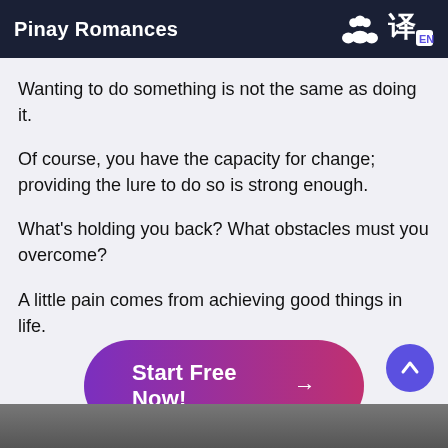Pinay Romances
Wanting to do something is not the same as doing it.
Of course, you have the capacity for change; providing the lure to do so is strong enough.
What's holding you back? What obstacles must you overcome?
A little pain comes from achieving good things in life.
[Figure (other): Start Free Now! button with arrow, gradient purple-to-pink, rounded pill shape]
[Figure (photo): Partial image visible at bottom of page]